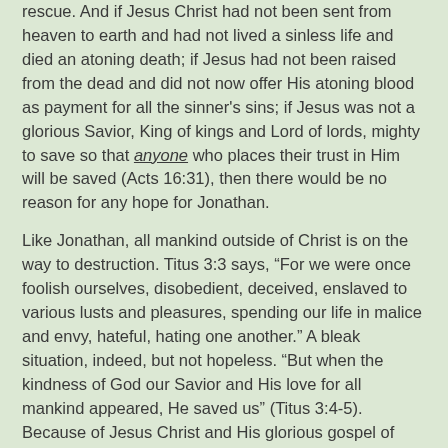rescue. And if Jesus Christ had not been sent from heaven to earth and had not lived a sinless life and died an atoning death; if Jesus had not been raised from the dead and did not now offer His atoning blood as payment for all the sinner's sins; if Jesus was not a glorious Savior, King of kings and Lord of lords, mighty to save so that anyone who places their trust in Him will be saved (Acts 16:31), then there would be no reason for any hope for Jonathan.
Like Jonathan, all mankind outside of Christ is on the way to destruction. Titus 3:3 says, “For we were once foolish ourselves, disobedient, deceived, enslaved to various lusts and pleasures, spending our life in malice and envy, hateful, hating one another.” A bleak situation, indeed, but not hopeless. “But when the kindness of God our Savior and His love for all mankind appeared, He saved us” (Titus 3:4-5). Because of Jesus Christ and His glorious gospel of salvation, all who repent of their sins and believe in Jesus will be saved.
SDG    rmb    12/24/2021    #473